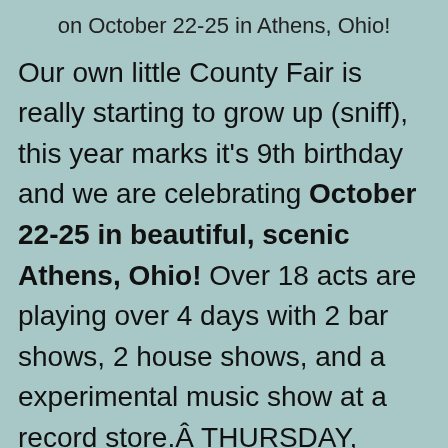on October 22-25 in Athens, Ohio!
Our own little County Fair is really starting to grow up (sniff), this year marks it's 9th birthday and we are celebrating October 22-25 in beautiful, scenic Athens, Ohio! Over 18 acts are playing over 4 days with 2 bar shows, 2 house shows, and a experimental music show at a record store.Â THURSDAY, OCTOBER 22 at 8:00pmÂ is theÂ County Fair Kickoff at The Bat LoungeÂ w/ Bad Luck (washington), Marina Peterson (athens), and Girl ColorsÂ (athens), please bring donations for the bands.Â FRIDAY, OCTOBER 23 at